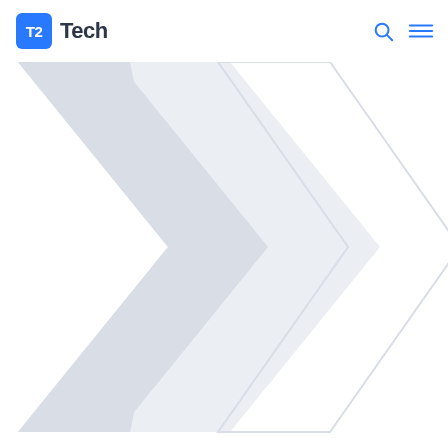T2 Tech
[Figure (illustration): Two overlapping right-pointing chevron/arrow shapes in light gray, partially cropped at bottom-left of the page, decorative background graphic]